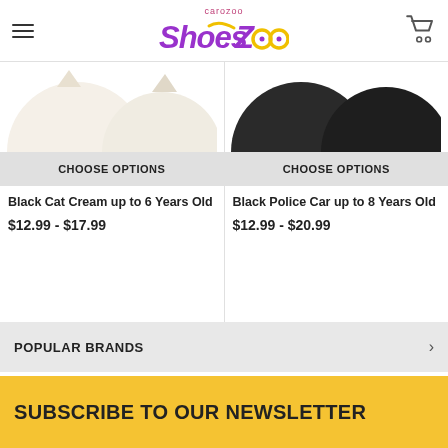carozoo ShoesZoo
[Figure (photo): Partial view of cream/white shoe product image, cropped at top]
CHOOSE OPTIONS
Black Cat Cream up to 6 Years Old
$12.99 - $17.99
[Figure (photo): Partial view of black shoe product image, cropped at top]
CHOOSE OPTIONS
Black Police Car up to 8 Years Old
$12.99 - $20.99
POPULAR BRANDS
SUBSCRIBE TO OUR NEWSLETTER